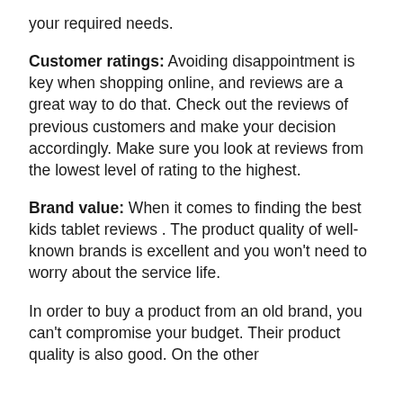your required needs.
Customer ratings: Avoiding disappointment is key when shopping online, and reviews are a great way to do that. Check out the reviews of previous customers and make your decision accordingly. Make sure you look at reviews from the lowest level of rating to the highest.
Brand value: When it comes to finding the best kids tablet reviews . The product quality of well-known brands is excellent and you won't need to worry about the service life.
In order to buy a product from an old brand, you can't compromise your budget. Their product quality is also good. On the other